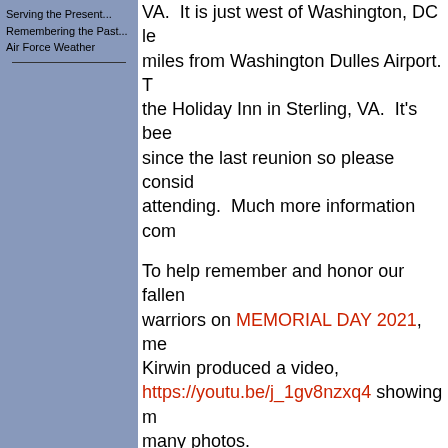Serving the Present...
Remembering the Past...
Air Force Weather
VA. It is just west of Washington, DC miles from Washington Dulles Airport. the Holiday Inn in Sterling, VA. It's been since the last reunion so please consider attending. Much more information com
To help remember and honor our fallen warriors on MEMORIAL DAY 2021, me Kirwin produced a video, https://youtu.be/j_1gv8nzxq4 showing many photos. Craig has been researching the fallen w USAAF and USAF Weather Personnel years and has found many more for this since the last printed list in http://airweaassn.org/reports/AFW37-12/AFW3712.pdf THANKS CRAIG!
The first digital only publication of the USAF THOR'S NO Airman's Magazine is now available to interested AWA men all those who contributed to the magazine! It is filed as a